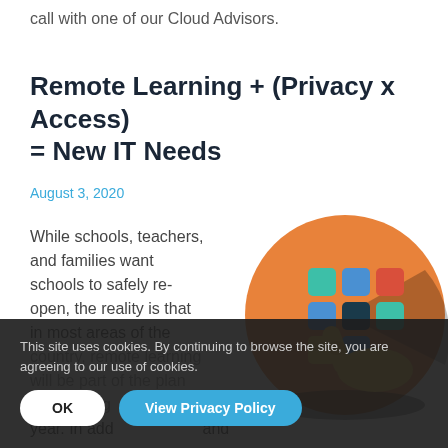call with one of our Cloud Advisors.
Remote Learning + (Privacy x Access) = New IT Needs
August 3, 2020
While schools, teachers, and families want schools to safely re-open, the reality is that in most areas of the country, remote learning will be part of the plan this coming school year. In add... and
[Figure (illustration): Circular orange illustration with a hand pointing at colorful app tiles/squares arranged in a grid pattern, on a dark shadow background]
This site uses cookies. By continuing to browse the site, you are agreeing to our use of cookies.